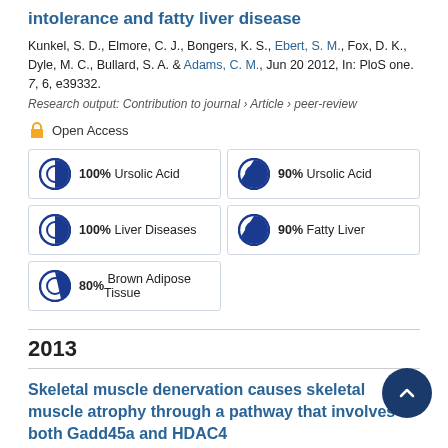intolerance and fatty liver disease
Kunkel, S. D., Elmore, C. J., Bongers, K. S., Ebert, S. M., Fox, D. K., Dyle, M. C., Bullard, S. A. & Adams, C. M., Jun 20 2012, In: PloS one. 7, 6, e39332.
Research output: Contribution to journal › Article › peer-review
Open Access
100% Ursolic Acid
90% Ursolic Acid
100% Liver Diseases
90% Fatty Liver
80% Brown Adipose Tissue
2013
Skeletal muscle denervation causes skeletal muscle atrophy through a pathway that involves both Gadd45a and HDAC4
Bongers, K. S., Fox, D. K., Ebert, S. M., Kunkel, S. D., Dyle, M. C., Bullard, S. A., Dierdorff, J. M. & Adams, C. M., Oct 1 2013,